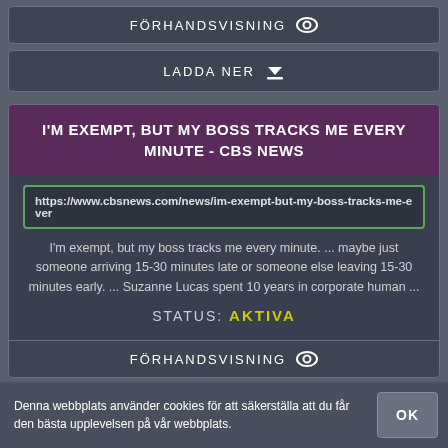FÖRHANDSVISNING 👁
LADDA NER ⬇
I'M EXEMPT, BUT MY BOSS TRACKS ME EVERY MINUTE - CBS NEWS
https://www.cbsnews.com/news/im-exempt-but-my-boss-tracks-me-ever
I'm exempt, but my boss tracks me every minute. ... maybe just someone arriving 15-30 minutes late or someone else leaving 15-30 minutes early. ... Suzanne Lucas spent 10 years in corporate human ...
STATUS: AKTIVA
FÖRHANDSVISNING 👁
Denna webbplats använder cookies för att säkerställa att du får den bästa upplevelsen på vår webbplats.